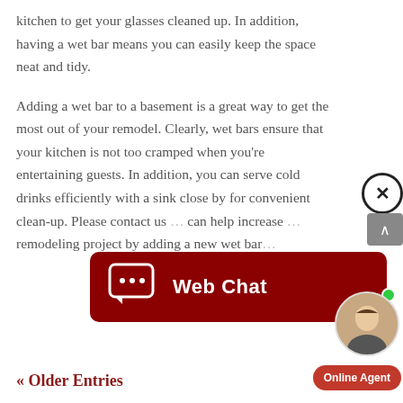kitchen to get your glasses cleaned up. In addition, having a wet bar means you can easily keep the space neat and tidy.
Adding a wet bar to a basement is a great way to get the most out of your remodel. Clearly, wet bars ensure that your kitchen is not too cramped when you're entertaining guests. In addition, you can serve cold drinks efficiently with a sink close by for convenient clean-up. Please contact us … can help increase … remodeling project by adding a new wet bar…
[Figure (screenshot): Web Chat widget overlay with dark red background, chat bubble icon, and 'Web Chat' label in white text]
[Figure (photo): Online agent photo (woman smiling) with green online indicator dot and 'Online Agent' red button below]
« Older Entries